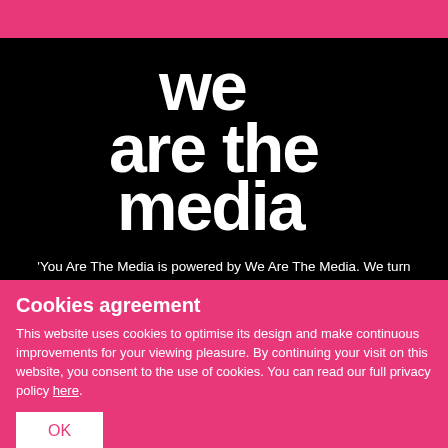[Figure (logo): We Are The Media logo — white stylized text on black background reading 'we are the media']
You Are The Media is powered by We Are The Media. We turn
Cookies agreement
This website uses cookies to optimise its design and make continuous improvements for your viewing pleasure. By continuing your visit on this website, you consent to the use of cookies. You can read our full privacy policy here.